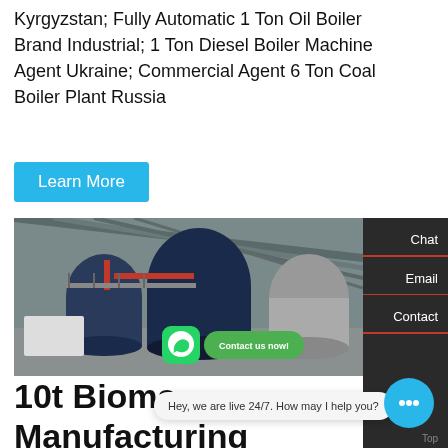Kyrgyzstan; Fully Automatic 1 Ton Oil Boiler Brand Industrial; 1 Ton Diesel Boiler Machine Agent Ukraine; Commercial Agent 6 Ton Coal Boiler Plant Russia
Learn More
[Figure (photo): Industrial boiler room with large cylindrical boilers, piping, and equipment inside a warehouse-style building. WhatsApp icon and 'Contact us now!' button overlaid.]
Chat
Email
Contact
Hey, we are live 24/7. How may I help you?
10t Bioma… Manufacturing Companies